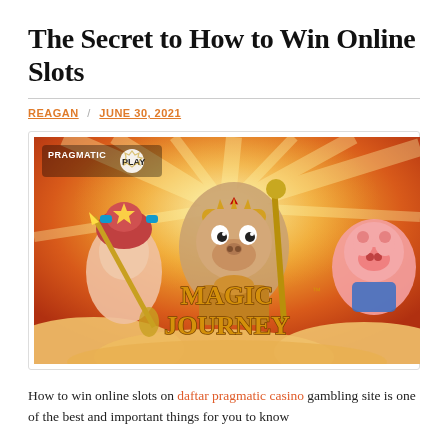The Secret to How to Win Online Slots
REAGAN / JUNE 30, 2021
[Figure (photo): Pragmatic Play Magic Journey online slot game promotional banner featuring animated characters: a female warrior, a monkey king, and a pig, with the game title 'Magic Journey' in gold text on an orange/red cloudy background.]
How to win online slots on daftar pragmatic casino gambling site is one of the best and important things for you to know